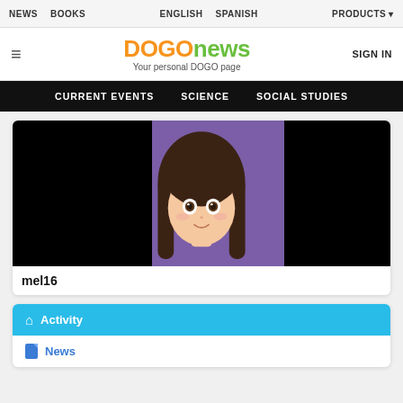NEWS  BOOKS  ENGLISH  SPANISH  PRODUCTS
DOGOnews — Your personal DOGO page
SIGN IN
CURRENT EVENTS  SCIENCE  SOCIAL STUDIES
[Figure (illustration): Anime-style cartoon girl with dark brown hair, peach skin, on purple background flanked by black panels. Username: mel16]
mel16
Activity
News